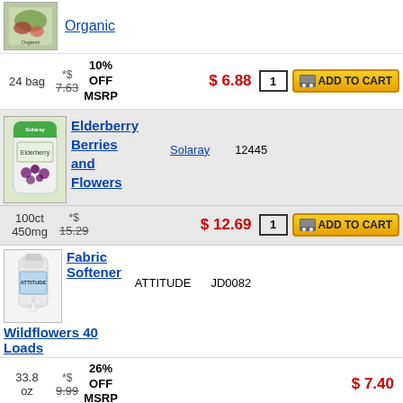[Figure (photo): Product thumbnail image - green botanical/herb package]
Organic
24 bag *$ 7.63 10% OFF MSRP $ 6.88 1 ADD TO CART
[Figure (photo): Elderberry supplement bottle with green cap]
Elderberry Berries and Flowers
Solaray 12445
100ct 450mg *$ 15.29 $ 12.69 1 ADD TO CART
[Figure (photo): White fabric softener bottle]
Fabric Softener
ATTITUDE JD0082
Wildflowers 40 Loads
33.8 oz *$ 9.99 26% OFF MSRP $ 7.40
[Figure (photo): Dark product thumbnail]
FIVE